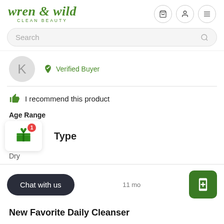wren & wild CLEAN BEAUTY
Search
[Figure (screenshot): Reviewer avatar circle with letter K]
Verified Buyer
I recommend this product
Age Range
[Figure (infographic): Gift icon widget with red badge showing 1, and 'Type' label beside it]
Dry
Chat with us
11 mo
New Favorite Daily Cleanser